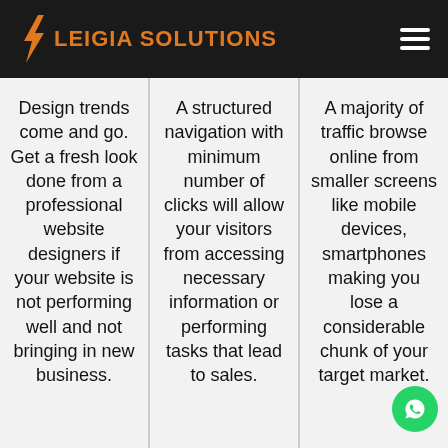Leigia Solutions
Design trends come and go. Get a fresh look done from a professional website designers if your website is not performing well and not bringing in new business.
A structured navigation with minimum number of clicks will allow your visitors from accessing necessary information or performing tasks that lead to sales.
A majority of traffic browse online from smaller screens like mobile devices, smartphones making you lose a considerable chunk of your target market.